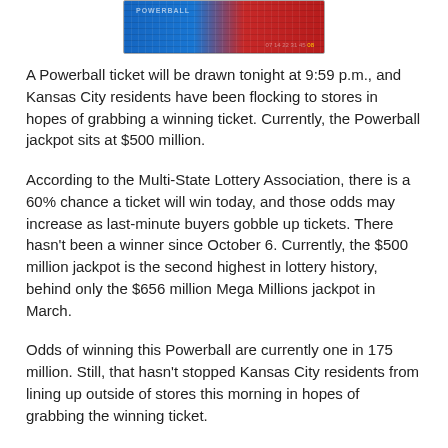[Figure (photo): Partial view of a Powerball lottery ticket, showing red and blue ticket with printed numbers]
A Powerball ticket will be drawn tonight at 9:59 p.m., and Kansas City residents have been flocking to stores in hopes of grabbing a winning ticket. Currently, the Powerball jackpot sits at $500 million.
According to the Multi-State Lottery Association, there is a 60% chance a ticket will win today, and those odds may increase as last-minute buyers gobble up tickets. There hasn't been a winner since October 6. Currently, the $500 million jackpot is the second highest in lottery history, behind only the $656 million Mega Millions jackpot in March.
Odds of winning this Powerball are currently one in 175 million. Still, that hasn't stopped Kansas City residents from lining up outside of stores this morning in hopes of grabbing the winning ticket.
Sales for Powerball reached a record $3.96 billion this year, and are expected to reach nearly $5 billion next year. Half of the proceeds from the ticket sales go into the prize pool, and